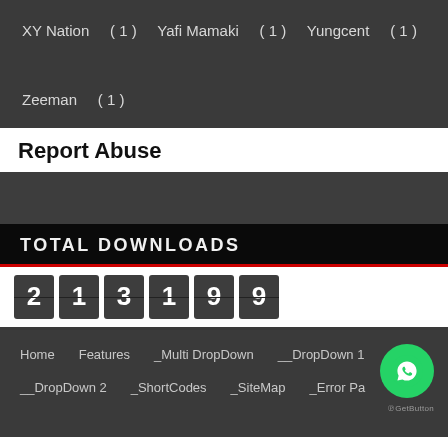XY Nation  (1)  Yafi Mamaki  (1)  Yungcent  (1)
Zeeman  (1)
Report Abuse
[Figure (other): Dark grey content block / placeholder area]
TOTAL DOWNLOADS
213199
Home   Features   _Multi DropDown   __DropDown 1
__DropDown 2   _ShortCodes   _SiteMap   _Error Pa...